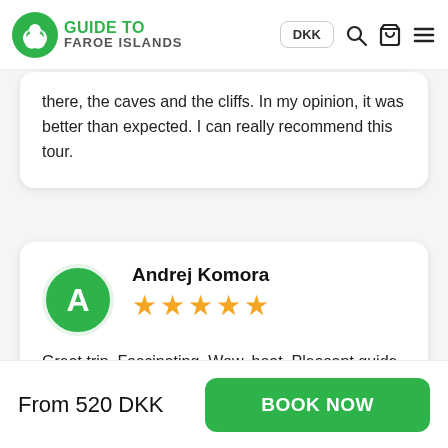Guide to Faroe Islands — DKK
there, the caves and the cliffs. In my opinion, it was better than expected. I can really recommend this tour.
Andrej Komora
★★★★★
Great trip. Fascinating. Wow, boat. Pleasant guide. Awesome nature. Andy.
From 520 DKK
BOOK NOW